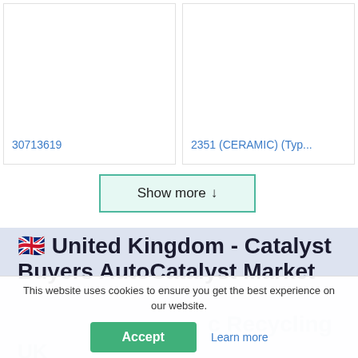30713619
2351 (CERAMIC) (Typ...
Show more ↓
🇬🇧 United Kingdom - Catalyst Buyers AutoCatalyst Market
This website uses cookies to ensure you get the best experience on our website.
Accept
Learn more